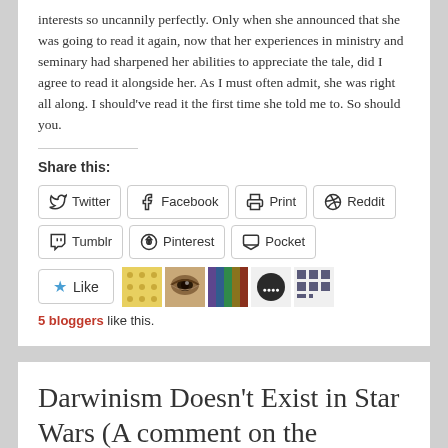interests so uncannily perfectly. Only when she announced that she was going to read it again, now that her experiences in ministry and seminary had sharpened her abilities to appreciate the tale, did I agree to read it alongside her. As I must often admit, she was right all along. I should've read it the first time she told me to. So should you.
Share this:
Twitter | Facebook | Print | Reddit | Tumblr | Pinterest | Pocket
Like | 5 bloggers like this.
Darwinism Doesn't Exist in Star Wars (A comment on the Mandalorian)